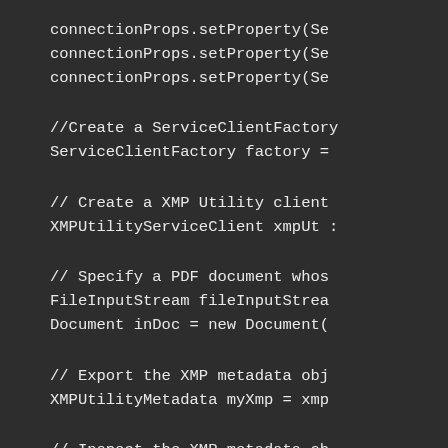[Figure (screenshot): Code snippet showing Java code with dark background. Lines include connectionProps.setProperty calls, ServiceClientFactory creation, XMP Utility client creation, PDF document specification with FileInputStream and Document, XMP metadata export with XMPUtilityMetadata, and XMP metadata inspection with String name = myXmp.getAuthor(.]